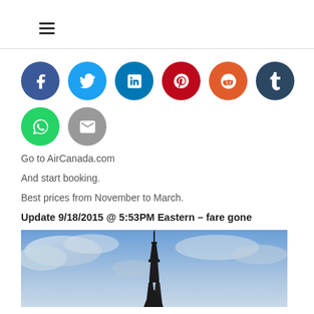[Figure (illustration): Hamburger menu icon (three horizontal lines)]
[Figure (illustration): Row of social media share icons: Facebook, Twitter, LinkedIn, Pinterest, Reddit, Tumblr, WhatsApp, Email]
Go to AirCanada.com
And start booking.
Best prices from November to March.
Update 9/18/2015 @ 5:53PM Eastern – fare gone
[Figure (photo): Photo of Eiffel Tower against a blue cloudy sky]